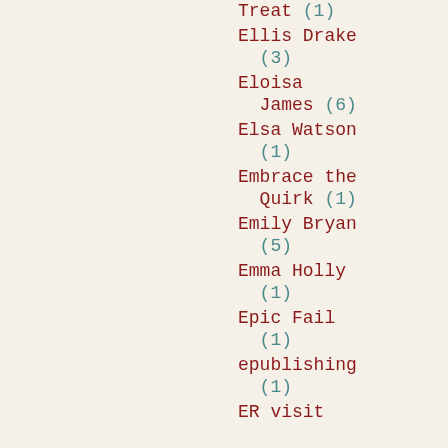Treat (1)
Ellis Drake (3)
Eloisa James (6)
Elsa Watson (1)
Embrace the Quirk (1)
Emily Bryan (5)
Emma Holly (1)
Epic Fail (1)
epublishing (1)
ER visit